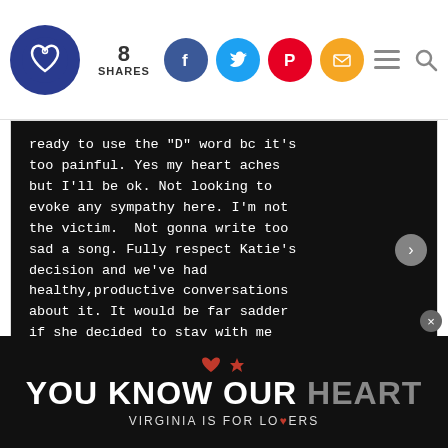[Figure (screenshot): Website header with heart logo, share count of 8, social media share buttons (Facebook, Twitter, Pinterest, Email), hamburger menu and search icons]
[Figure (screenshot): Instagram embed showing white monospace text on black background reading: 'ready to use the "D" word bc it's too painful. Yes my heart aches but I'll be ok. Not looking to evoke any sympathy here. I'm not the victim.  Not gonna write too sad a song. Fully respect Katie's decision and we've had healthy,productive conversations about it. It would be far sadder if she decided to stay with me whilst not happy...' with pagination dots and right arrow]
View more on Instagram
212,046 likes
[Figure (screenshot): Bottom black banner advertisement: heart and spade icons, 'YOU KNOW OUR HEART' in large white/gray text, 'VIRGINIA IS FOR LOVERS' in smaller white text with a red heart replacing the 'V']